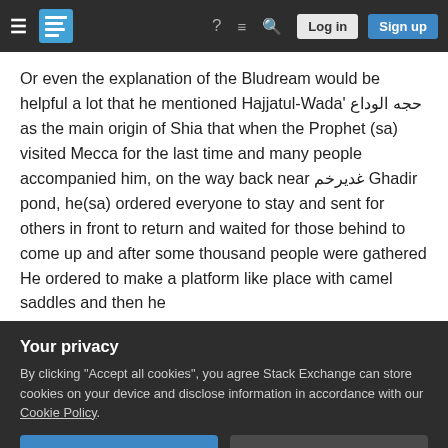Stack Exchange navigation bar with Log in and Sign up buttons
Or even the explanation of the Bludream would be helpful a lot that he mentioned Hajjatul-Wada' حجه الوداع as the main origin of Shia that when the Prophet (sa) visited Mecca for the last time and many people accompanied him, on the way back near غدیرخم Ghadir pond, he(sa) ordered everyone to stay and sent for others in front to return and waited for those behind to come up and after some thousand people were gathered He ordered to make a platform like place with camel saddles and then he
Your privacy
By clicking "Accept all cookies", you agree Stack Exchange can store cookies on your device and disclose information in accordance with our Cookie Policy.
Accept all cookies   Customize settings
Then he told them to spread the word and tell